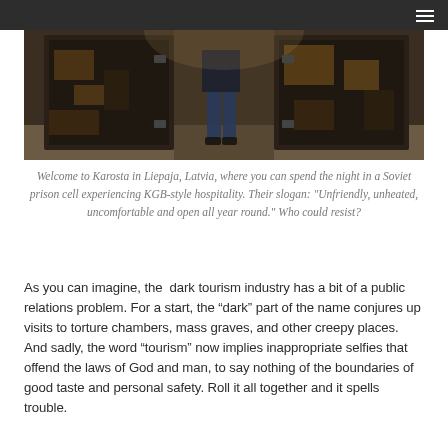[Figure (photo): A person standing between two large, heavily weathered and rusted metal prison doors in a Soviet-era facility. The walls and doors show extensive decay and damage.]
Welcome to Karosta in Liepaja, Latvia, where you can spend the night in a Soviet prison cell experiencing KGB-style hospitality. Their slogan: "Unfriendly, unheated, uncomfortable and open all year round." Who could resist?
As you can imagine, the  dark tourism industry has a bit of a public relations problem. For a start, the “dark” part of the name conjures up visits to torture chambers, mass graves, and other creepy places. And sadly, the word “tourism” now implies inappropriate selfies that offend the laws of God and man, to say nothing of the boundaries of good taste and personal safety. Roll it all together and it spells trouble.